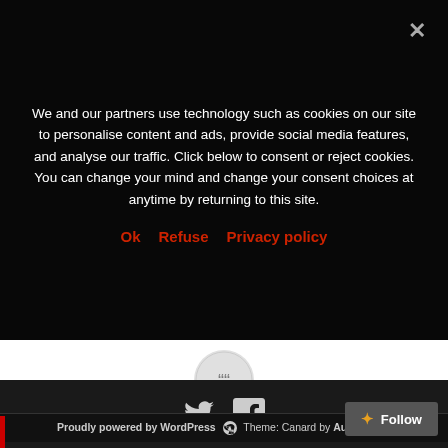We and our partners use technology such as cookies on our site to personalise content and ads, provide social media features, and analyse our traffic. Click below to consent or reject cookies. You can change your mind and change your consent choices at anytime by returning to this site.
Ok   Refuse   Privacy policy
[Figure (other): Circular avatar/icon placeholder]
[Figure (other): Twitter and Facebook social media icons in dark footer bar]
Proudly powered by WordPress  Theme: Canard by Automattic.
Follow